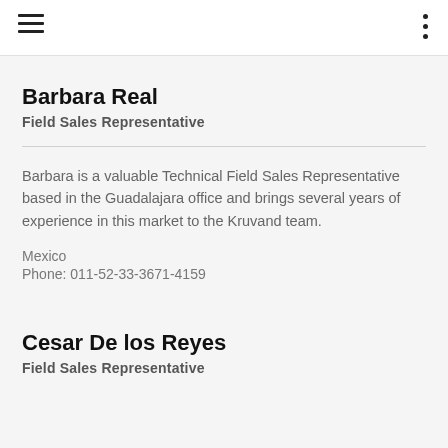Barbara Real
Field Sales Representative
Barbara is a valuable Technical Field Sales Representative based in the Guadalajara office and brings several years of experience in this market to the Kruvand team.
Mexico
Phone: 011-52-33-3671-4159
Cesar De los Reyes
Field Sales Representative